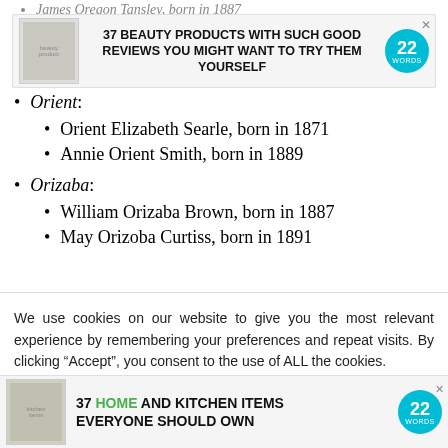James Oregon Tansley, born in 1887
[Figure (infographic): Advertisement banner: 37 Beauty Products With Such Good Reviews You Might Want To Try Them Yourself – 22 Words]
Orient:
Orient Elizabeth Searle, born in 1871
Annie Orient Smith, born in 1889
Orizaba:
William Orizaba Brown, born in 1887
May Orizoba Curtiss, born in 1891
We use cookies on our website to give you the most relevant experience by remembering your preferences and repeat visits. By clicking “Accept”, you consent to the use of ALL the cookies.
Do not sell my personal information.
[Figure (infographic): Advertisement banner: 37 Home and Kitchen Items Everyone Should Own – 22 Words]